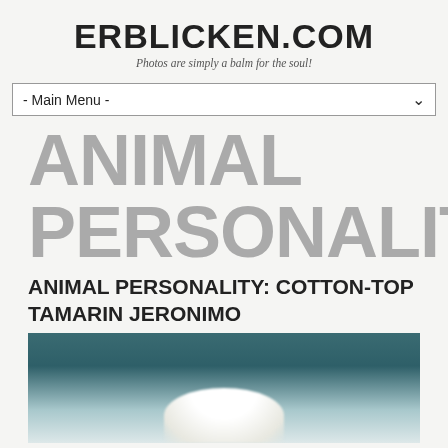ERBLICKEN.COM
Photos are simply a balm for the soul!
ANIMAL PERSONALITIES
ANIMAL PERSONALITY: COTTON-TOP TAMARIN JERONIMO
[Figure (photo): Photo of a cotton-top tamarin named Jeronimo, showing the animal's distinctive white fur on top of its head against a dark teal background]